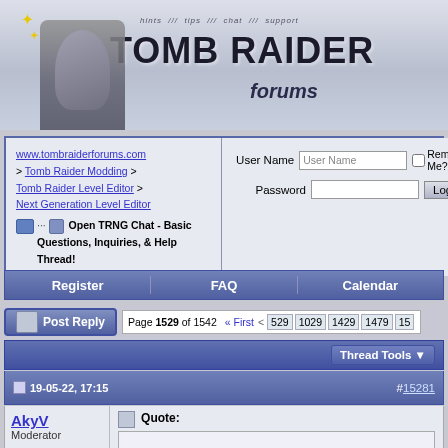[Figure (illustration): Tomb Raider Forums banner with Lara Croft character, showing 'hints // tips // chat // support' text and 'TOMB RAIDER forums' logo]
www.tombraiderforums.com > Tomb Raider Modding > Tomb Raider Level Editor > Next Generation Level Editor
Open TRNG Chat - Basic Questions, Inquiries, & Help Thread!
User Name | Password | Remember Me? | Log in
Register | FAQ | Calendar
Post Reply  Page 1529 of 1542  « First  <  529  1029  1429  1479  15
Thread Tools
19-05-22, 17:15  #15281
AkyV
Moderator
Quote: